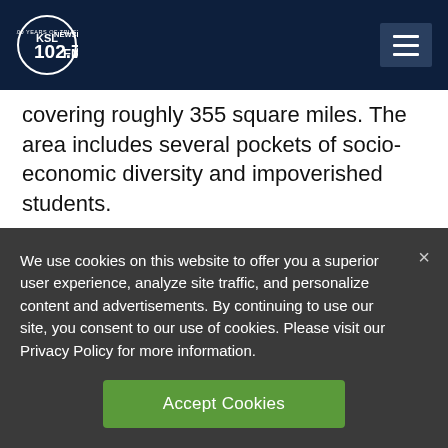KSL NewsRadio 102.7FM
covering roughly 355 square miles. The area includes several pockets of socio-economic diversity and impoverished students.
A diverse district
We use cookies on this website to offer you a superior user experience, analyze site traffic, and personalize content and advertisements. By continuing to use our site, you consent to our use of cookies. Please visit our Privacy Policy for more information.
Accept Cookies